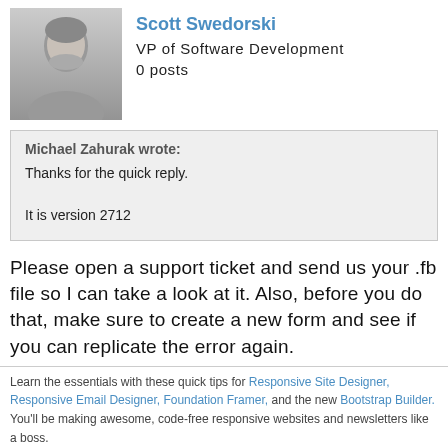[Figure (photo): Black and white profile photo of Scott Swedorski]
Scott Swedorski
VP of Software Development
0 posts
Michael Zahurak wrote:
Thanks for the quick reply.

It is version 2712
Please open a support ticket and send us your .fb file so I can take a look at it. Also, before you do that, make sure to create a new form and see if you can replicate the error again.
Learn the essentials with these quick tips for Responsive Site Designer, Responsive Email Designer, Foundation Framer, and the new Bootstrap Builder. You'll be making awesome, code-free responsive websites and newsletters like a boss.
Nov 11th, 2011 at 10:28 AM